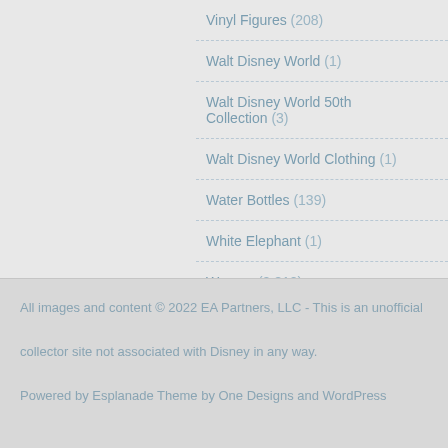Vinyl Figures (208)
Walt Disney World (1)
Walt Disney World 50th Collection (3)
Walt Disney World Clothing (1)
Water Bottles (139)
White Elephant (1)
Women (2,810)
Wrap It Up (4)
All images and content © 2022 EA Partners, LLC - This is an unofficial collector site not associated with Disney in any way.

Powered by Esplanade Theme by One Designs and WordPress